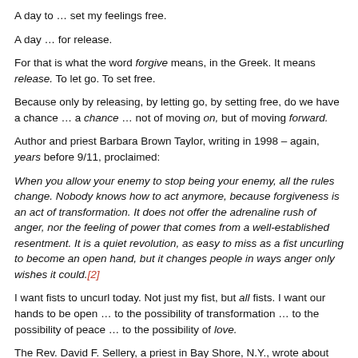A day to … set my feelings free.
A day … for release.
For that is what the word forgive means, in the Greek. It means release. To let go. To set free.
Because only by releasing, by letting go, by setting free, do we have a chance … a chance … not of moving on, but of moving forward.
Author and priest Barbara Brown Taylor, writing in 1998 – again, years before 9/11, proclaimed:
When you allow your enemy to stop being your enemy, all the rules change. Nobody knows how to act anymore, because forgiveness is an act of transformation. It does not offer the adrenaline rush of anger, nor the feeling of power that comes from a well-established resentment. It is a quiet revolution, as easy to miss as a fist uncurling to become an open hand, but it changes people in ways anger only wishes it could.[2]
I want fists to uncurl today. Not just my fist, but all fists. I want our hands to be open … to the possibility of transformation … to the possibility of peace … to the possibility of love.
The Rev. David F. Sellery, a priest in Bay Shore, N.Y., wrote about forgiveness in a reflection for today: